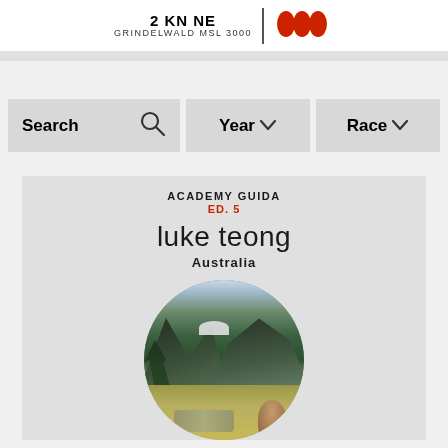2 KN NE
GRINDELWALD MSL 3000
Search
Year
Race
ACADEMY GUIDA
ED. 5
luke teong
Australia
[Figure (photo): Circular profile photo of luke teong showing a mountain valley landscape with green forested slopes, snow-capped peaks in the background, golden grassland and a stream in the foreground, with a person partially visible at bottom right.]